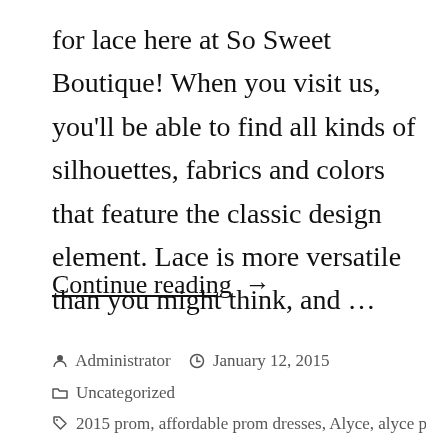for lace here at So Sweet Boutique! When you visit us, you'll be able to find all kinds of silhouettes, fabrics and colors that feature the classic design element. Lace is more versatile than you might think, and …
Continue reading →
Administrator  January 12, 2015
Uncategorized
2015 prom, affordable prom dresses, Alyce, alyce prom, lace, lace dress, lace dresses, lace gown, lace